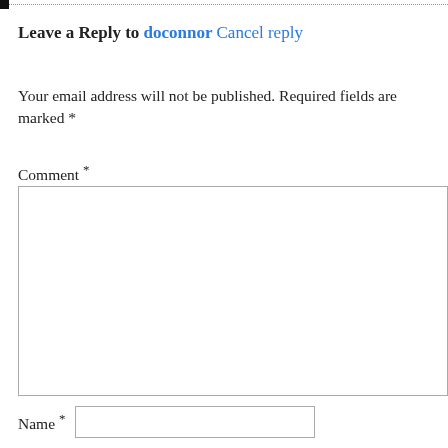Leave a Reply to doconnor Cancel reply
Your email address will not be published. Required fields are marked *
Comment *
Name *